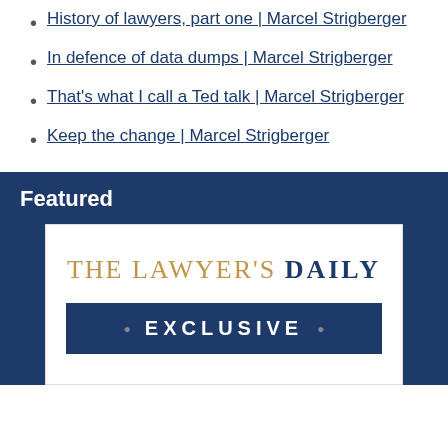History of lawyers, part one | Marcel Strigberger
In defence of data dumps | Marcel Strigberger
That's what I call a Ted talk | Marcel Strigberger
Keep the change | Marcel Strigberger
Featured
[Figure (logo): The Lawyer's Daily Exclusive logo badge: serif text 'THE LAWYER'S DAILY' in gold/brown above a dark navy bar with 'EXCLUSIVE' in white bold caps with decorative dots on either side.]